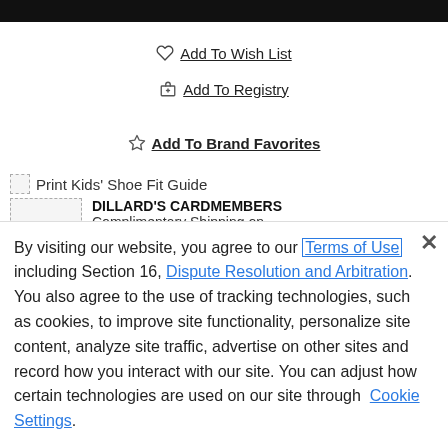♡ Add To Wish List
🎁 Add To Registry
☆ Add To Brand Favorites
Print Kids' Shoe Fit Guide
Dillard's — DILLARD'S CARDMEMBERS Complimentary Shipping on
By visiting our website, you agree to our Terms of Use including Section 16, Dispute Resolution and Arbitration. You also agree to the use of tracking technologies, such as cookies, to improve site functionality, personalize site content, analyze site traffic, advertise on other sites and record how you interact with our site. You can adjust how certain technologies are used on our site through Cookie Settings.